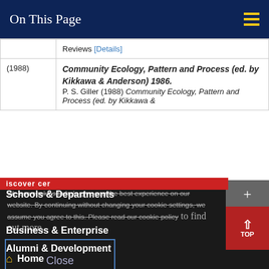On This Page
|  |  |
| --- | --- |
|  | Reviews [Details] |
| (1988) | Community Ecology, Pattern and Process (ed. by Kikkawa & Anderson) 1986.
P. S. Giller (1988) Community Ecology, Pattern and Process (ed. by Kikkawa & |
Schools & Departments
We use cookies to help give you the best experience on our website. By continuing without changing your cookie settings, we assume you agree to this. Please read our cookie policy to find out more.
Business & Enterprise
Alumni & Development
Close
Home